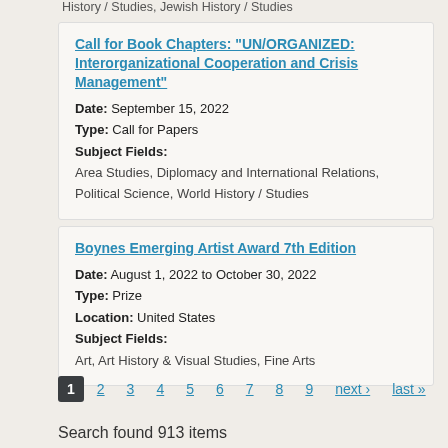History / Studies, Jewish History / Studies
Call for Book Chapters: "UN/ORGANIZED: Interorganizational Cooperation and Crisis Management"
Date: September 15, 2022
Type: Call for Papers
Subject Fields: Area Studies, Diplomacy and International Relations, Political Science, World History / Studies
Boynes Emerging Artist Award 7th Edition
Date: August 1, 2022 to October 30, 2022
Type: Prize
Location: United States
Subject Fields: Art, Art History & Visual Studies, Fine Arts
1 2 3 4 5 6 7 8 9 next › last »
Search found 913 items